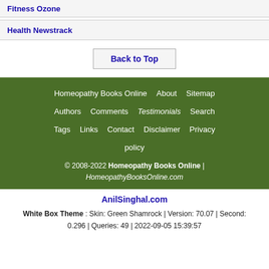Fitness Ozone
Health Newstrack
Back to Top
Homeopathy Books Online | About | Sitemap | Authors | Comments | Testimonials | Search | Tags | Links | Contact | Disclaimer | Privacy policy
© 2008-2022 Homeopathy Books Online | HomeopathyBooksOnline.com
AnilSinghal.com
White Box Theme : Skin: Green Shamrock | Version: 70.07 | Second: 0.296 | Queries: 49 | 2022-09-05 15:39:57